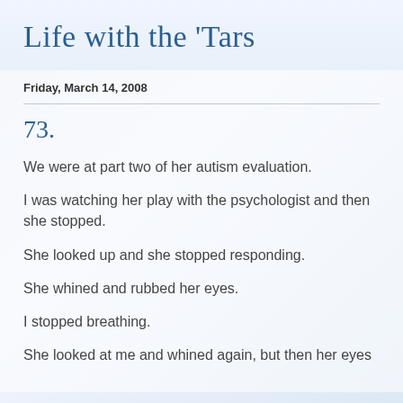Life with the 'Tars
Friday, March 14, 2008
73.
We were at part two of her autism evaluation.
I was watching her play with the psychologist and then she stopped.
She looked up and she stopped responding.
She whined and rubbed her eyes.
I stopped breathing.
She looked at me and whined again, but then her eyes